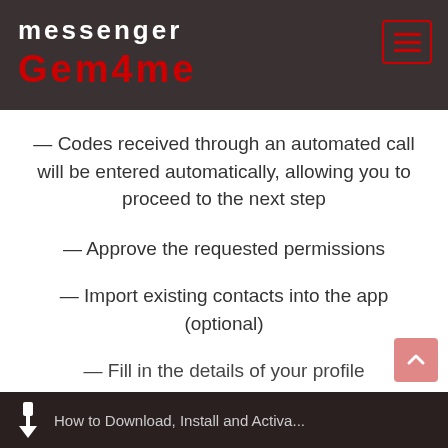messenger Gem4me
— Codes received through an automated call will be entered automatically, allowing you to proceed to the next step
— Approve the requested permissions
— Import existing contacts into the app (optional)
— Fill in the details of your profile
How to Download, Install and Activate...